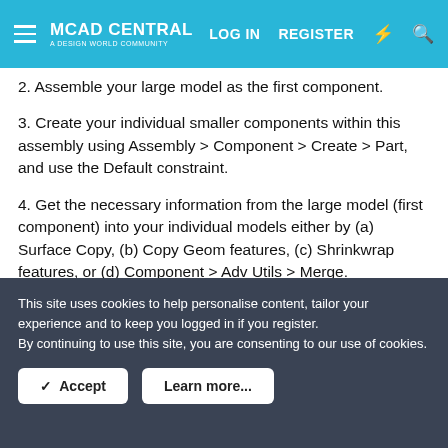MCAD CENTRAL — LOG IN | REGISTER
2. Assemble your large model as the first component.
3. Create your individual smaller components within this assembly using Assembly > Component > Create > Part, and use the Default constraint.
4. Get the necessary information from the large model (first component) into your individual models either by (a) Surface Copy, (b) Copy Geom features, (c) Shrinkwrap features, or (d) Component > Adv Utils > Merge.
5. In the individual models, create the geometry you need or
This site uses cookies to help personalise content, tailor your experience and to keep you logged in if you register.
By continuing to use this site, you are consenting to our use of cookies.
✓ Accept | Learn more...